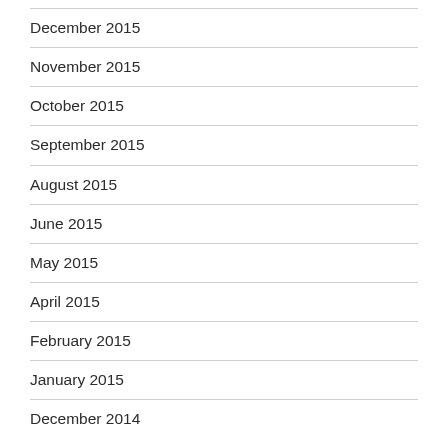December 2015
November 2015
October 2015
September 2015
August 2015
June 2015
May 2015
April 2015
February 2015
January 2015
December 2014